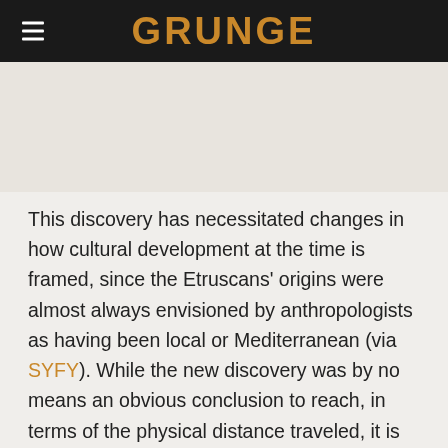GRUNGE
This discovery has necessitated changes in how cultural development at the time is framed, since the Etruscans' origins were almost always envisioned by anthropologists as having been local or Mediterranean (via SYFY). While the new discovery was by no means an obvious conclusion to reach, in terms of the physical distance traveled, it is far from an unprecedented journey for the ancient Etruscans to have undertaken. The later migrations of the Roma people, who originated in